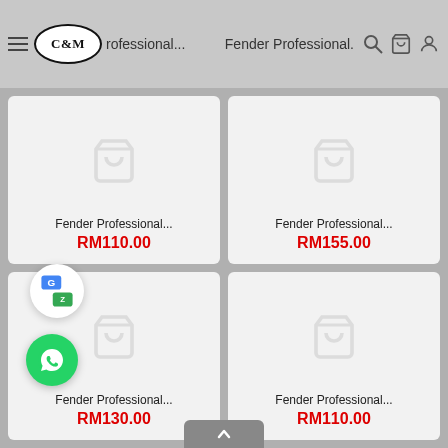Fender Professional... | Fender Professional.
RM110.00
RM155.00
Fender Professional...
RM130.00
Fender Professional...
RM110.00